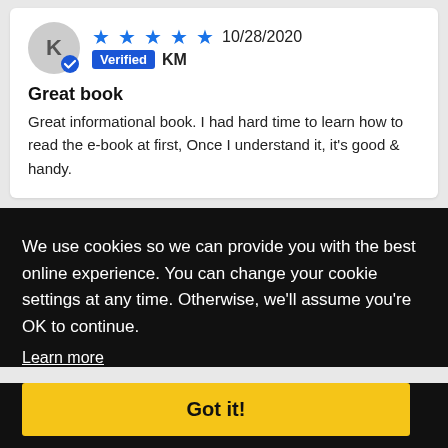K — reviewer avatar with verified badge, 5 stars, 10/28/2020, Verified KM
Great book
Great informational book. I had hard time to learn how to read the e-book at first, Once I understand it, it's good & handy.
We use cookies so we can provide you with the best online experience. You can change your cookie settings at any time. Otherwise, we'll assume you're OK to continue. Learn more
Got it!
all ...nas its challenges. make 10 yards, the